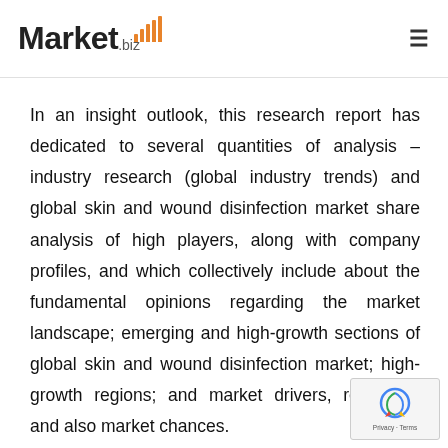Market.biz
In an insight outlook, this research report has dedicated to several quantities of analysis – industry research (global industry trends) and global skin and wound disinfection market share analysis of high players, along with company profiles, and which collectively include about the fundamental opinions regarding the market landscape; emerging and high-growth sections of global skin and wound disinfection market; high-growth regions; and market drivers, restraints, and also market chances.